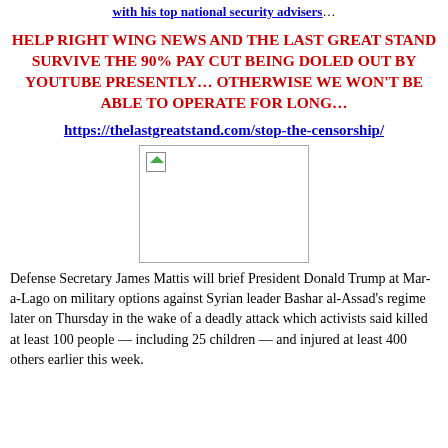with his top national security advisers…
HELP RIGHT WING NEWS AND THE LAST GREAT STAND SURVIVE THE 90% PAY CUT BEING DOLED OUT BY YOUTUBE PRESENTLY… OTHERWISE WE WON'T BE ABLE TO OPERATE FOR LONG…
https://thelastgreatstand.com/stop-the-censorship/
[Figure (photo): Broken/missing image placeholder]
Defense Secretary James Mattis will brief President Donald Trump at Mar-a-Lago on military options against Syrian leader Bashar al-Assad's regime later on Thursday in the wake of a deadly attack which activists said killed at least 100 people — including 25 children — and injured at least 400 others earlier this week.